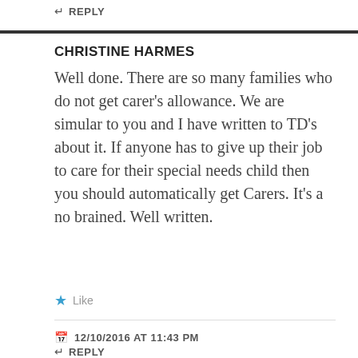↵ REPLY
CHRISTINE HARMES
Well done. There are so many families who do not get carer's allowance. We are simular to you and I have written to TD's about it. If anyone has to give up their job to care for their special needs child then you should automatically get Carers. It's a no brained. Well written.
★ Like
12/10/2016 AT 11:43 PM
↵ REPLY